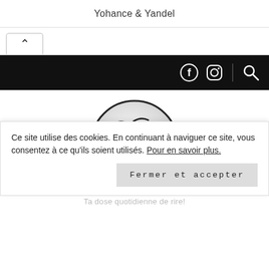Yohance & Yandel
[Figure (other): Accordion/tab collapse button with up-caret arrow]
Navigation bar with Facebook icon, Instagram icon, and Search icon on black background
[Figure (illustration): Circular mascot logo: a cartoon face with blue eyes, black nose, red smile, fleur-de-lis tattoo on cheek, on a white/grey circle with dark outline]
Ce site utilise des cookies. En continuant à naviguer ce site, vous consentez à ce qu'ils soient utilisés. Pour en savoir plus.
Fermer et accepter
Ta dose quotidienne de rire!